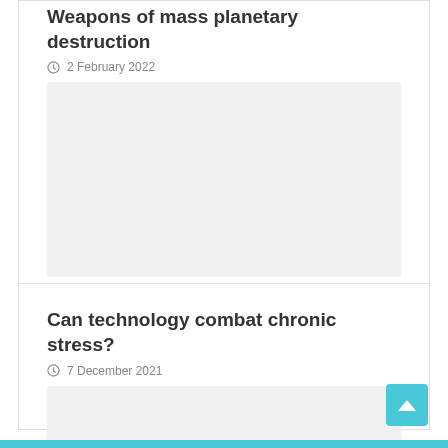Weapons of mass planetary destruction
2 February 2022
[Figure (photo): Image placeholder for weapons of mass planetary destruction article]
Can technology combat chronic stress?
7 December 2021
[Figure (photo): Image placeholder for can technology combat chronic stress article]